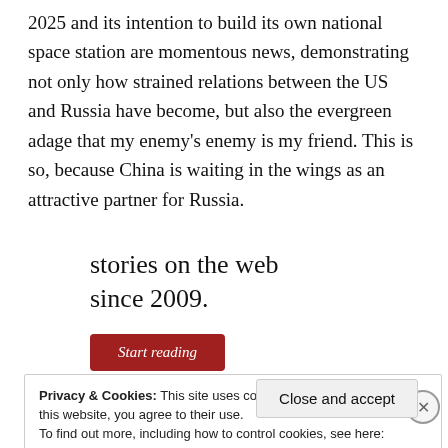2025 and its intention to build its own national space station are momentous news, demonstrating not only how strained relations between the US and Russia have become, but also the evergreen adage that my enemy's enemy is my friend. This is so, because China is waiting in the wings as an attractive partner for Russia.
stories on the web since 2009.
Start reading
Privacy & Cookies: This site uses cookies. By continuing to use this website, you agree to their use.
To find out more, including how to control cookies, see here: Cookie Policy
Close and accept